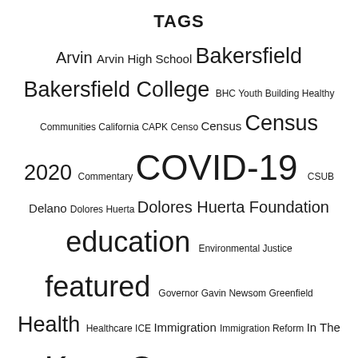TAGS
Arvin Arvin High School Bakersfield Bakersfield College BHC Youth Building Healthy Communities California CAPK Censo Census Census 2020 Commentary COVID-19 CSUB Delano Dolores Huerta Dolores Huerta Foundation education Environmental Justice featured Governor Gavin Newsom Greenfield Health Healthcare ICE Immigration Immigration Reform In The 661 Kern County kern high school district khsd lamont lgbt LGBTQ living news pandemic Poems Poetry South Kern South Kern Sol UFW vaccine Youth Journalism youth voice
ARCHIVES
Select Month
AUTHORS